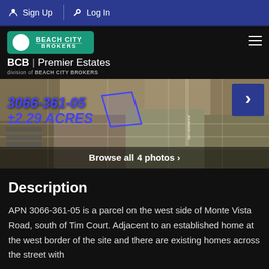Sign Up  Log In
[Figure (logo): Beach City Brokers logo with BCB | Premier Estates branding]
[Figure (photo): Aerial satellite map showing parcel 3066-361-05, ±2.29 ACRES with blue outline, near Monte Vista Road and Tim Court]
Browse all 4 photos >
Description
APN 3066-361-05 is a parcel on the west side of Monte Vista Road, south of Tim Court. Adjacent to an established home at the west border of the site and there are existing homes across the street with